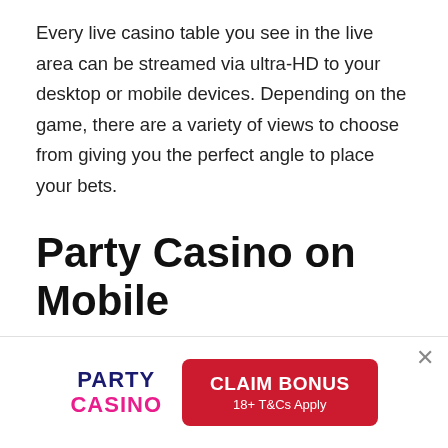Every live casino table you see in the live area can be streamed via ultra-HD to your desktop or mobile devices. Depending on the game, there are a variety of views to choose from giving you the perfect angle to place your bets.
Party Casino on Mobile
Although Party Casino was founded in 1997, the
[Figure (logo): Party Casino logo with PARTY in dark blue and CASINO in pink/magenta, alongside a red CLAIM BONUS button with '18+ T&Cs Apply' text and a close (×) button]